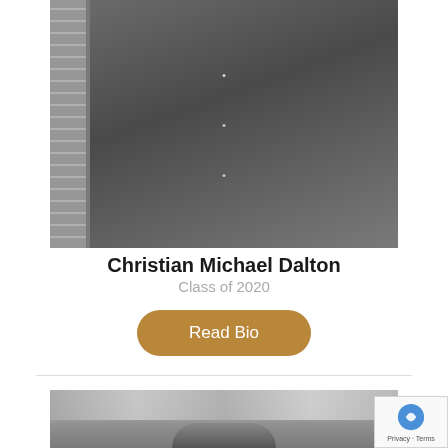[Figure (photo): Black and white portrait photo of a man in a dark jacket/suit near a brick wall and foliage]
Christian Michael Dalton
Class of 2020
Read Bio
[Figure (photo): Black and white photo of a person with dark hair outdoors among foliage/trees]